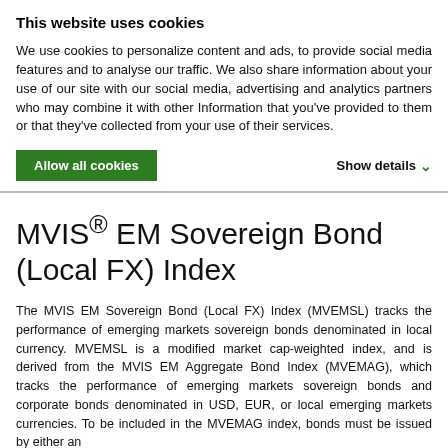This website uses cookies
We use cookies to personalize content and ads, to provide social media features and to analyse our traffic. We also share information about your use of our site with our social media, advertising and analytics partners who may combine it with other Information that you've provided to them or that they've collected from your use of their services.
Allow all cookies
Show details ∨
MVIS® EM Sovereign Bond (Local FX) Index
The MVIS EM Sovereign Bond (Local FX) Index (MVEMSL) tracks the performance of emerging markets sovereign bonds denominated in local currency. MVEMSL is a modified market cap-weighted index, and is derived from the MVIS EM Aggregate Bond Index (MVEMAG), which tracks the performance of emerging markets sovereign bonds and corporate bonds denominated in USD, EUR, or local emerging markets currencies. To be included in the MVEMAG index, bonds must be issued by either an